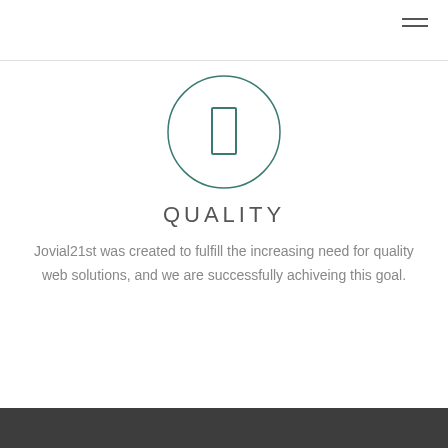[Figure (illustration): A circle outline containing a small vertical rectangle outline, centered on the page, rendered in teal/dark cyan color.]
QUALITY
Jovial21st was created to fulfill the increasing need for quality web solutions, and we are successfully achiveing this goal.